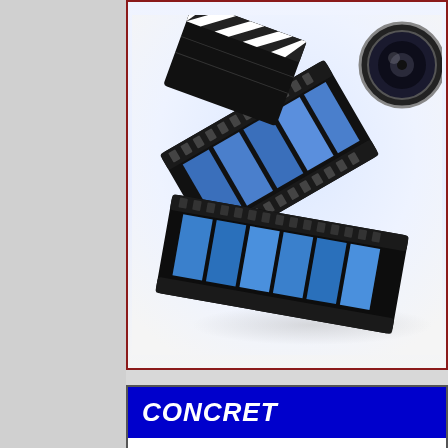[Figure (photo): Film reel and movie clapper board photo on light background]
CONCRET
3D SP STAIN PROTECTOR:
Ameripolish 3D SP is a breathable topical sealer that helps to prevent etching. 3D SP creates a water barrier, stopping liquids from infiltrating the surface and color dispersion.